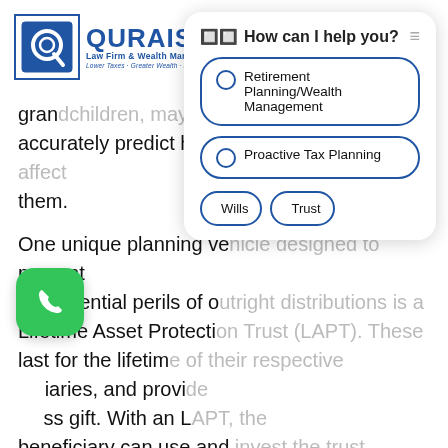[Figure (logo): Quraishi Law Firm & Wealth Management logo with blue Q icon and text]
[Figure (screenshot): Chat widget overlay with 'How can I help you?' header and options: Retirement Planning/Wealth Management, Proactive Tax Planning, Wills, Trust]
grandchildren, may be there is no way to accurately predict how their inheritance will affect them.
One unique planning vehicle designed to prevent the potential perils of outright distributions is a Lifetime Asset Protection Trust (LAPT). These last for the lifetime of their respective beneficiaries, and provide protection against a lump ss gift. With an LAPT, the beneficiary can use and invest the trust assets, yet at the same time, the trust assets receive protection from unexpected events such as divorce or serious debt, which have the potential to